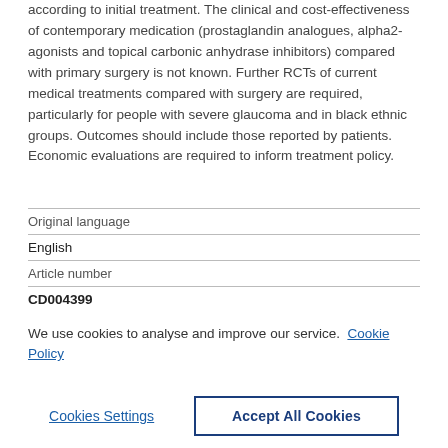according to initial treatment. The clinical and cost-effectiveness of contemporary medication (prostaglandin analogues, alpha2-agonists and topical carbonic anhydrase inhibitors) compared with primary surgery is not known. Further RCTs of current medical treatments compared with surgery are required, particularly for people with severe glaucoma and in black ethnic groups. Outcomes should include those reported by patients. Economic evaluations are required to inform treatment policy.
| Original language |  |
| English |  |
| Article number |  |
| CD004399 |  |
We use cookies to analyse and improve our service. Cookie Policy